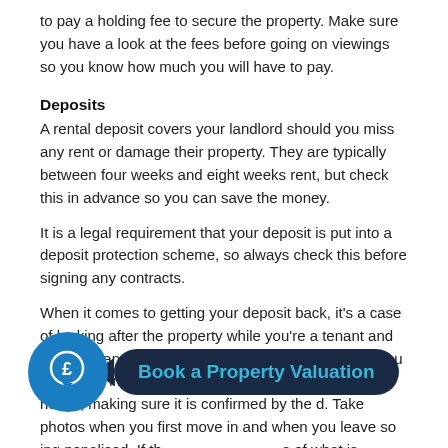to pay a holding fee to secure the property. Make sure you have a look at the fees before going on viewings so you know how much you will have to pay.
Deposits
A rental deposit covers your landlord should you miss any rent or damage their property. They are typically between four weeks and eight weeks rent, but check this in advance so you can save the money.
It is a legal requirement that your deposit is put into a deposit protection scheme, so always check this before signing any contracts.
When it comes to getting your deposit back, it's a case of looking after the property while you're a tenant and reporting any problems. Check the inventory when you first move in and add any existing damage that you notice, making sure it is confirmed by the d. Take photos when you first move in and when you leave so ing penalised. If th s of what is present when you first move in and when you leave. All of this
[Figure (infographic): A circular blue icon with a pound (£) sign speech bubble, followed by a dark navy rounded rectangle banner with teal text reading 'Book a Property Valuation']